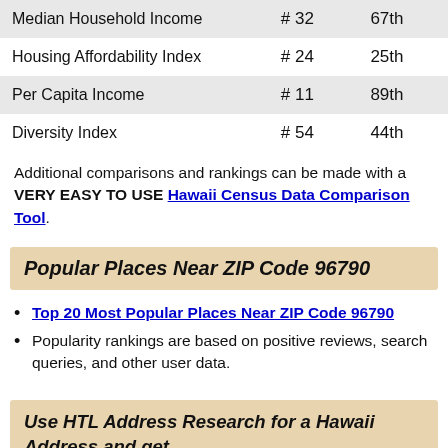|  |  |  |
| --- | --- | --- |
| Median Household Income | # 32 | 67th |
| Housing Affordability Index | # 24 | 25th |
| Per Capita Income | # 11 | 89th |
| Diversity Index | # 54 | 44th |
Additional comparisons and rankings can be made with a VERY EASY TO USE Hawaii Census Data Comparison Tool.
Popular Places Near ZIP Code 96790
Top 20 Most Popular Places Near ZIP Code 96790
Popularity rankings are based on positive reviews, search queries, and other user data.
Use HTL Address Research for a Hawaii Address and get...
Boundary Maps, Demographic Data, School Zones ...